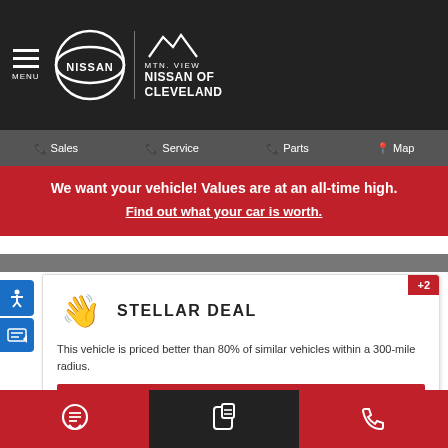MTN. VIEW NISSAN OF CLEVELAND — MENU | Sales | Service | Parts | Map
We want your vehicle! Values are at an all-time high.
Find out what your car is worth.
[Figure (infographic): Stellar Deal badge with waving hand icon and +2 badge. Text: This vehicle is priced better than 80% of similar vehicles within a 300-mile radius. Your savings: $2,991 button. Powered by TRADEPENDING.]
Pre-Owned 2017 Buick Enclave Leather SUV
Chat | Message | Call icons in bottom bar